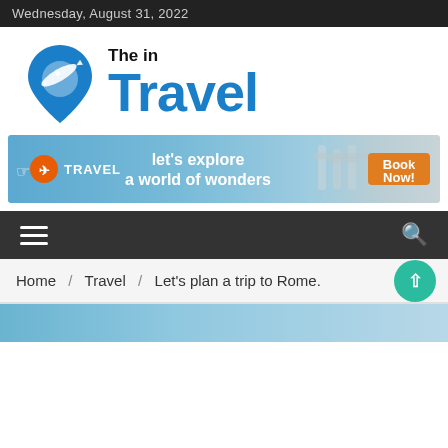Wednesday, August 31, 2022
[Figure (logo): The in Travel logo with blue location pin and airplane graphic and blue bold text 'Travel' with black 'The in' above]
[Figure (infographic): Travel advertisement banner: TRAVEL logo on left, 'let's explore a world of wonders' in center, orange 'Book Now!' button on right, beach/chairs background]
[Figure (infographic): Dark navigation bar with hamburger menu icon on left and search icon on right]
Home / Travel / Let's plan a trip to Rome.
[Figure (photo): Partial view of a travel photo at the bottom of the page, appears to be a blue/teal water or sky scene]